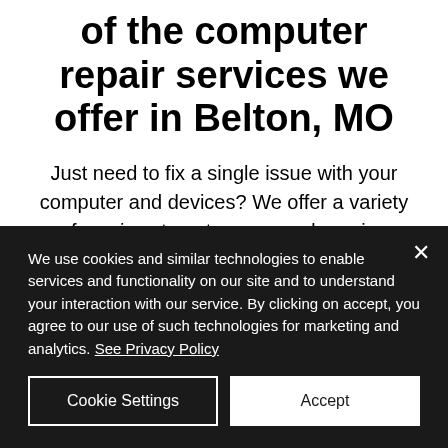of the computer repair services we offer in Belton, MO
Just need to fix a single issue with your computer and devices? We offer a variety of services to get you up and running again. We are a completely mobile and onsite computer repair company, which
We use cookies and similar technologies to enable services and functionality on our site and to understand your interaction with our service. By clicking on accept, you agree to our use of such technologies for marketing and analytics. See Privacy Policy